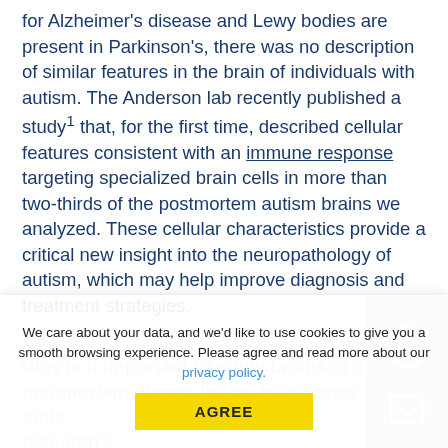for Alzheimer's disease and Lewy bodies are present in Parkinson's, there was no description of similar features in the brain of individuals with autism. The Anderson lab recently published a study¹ that, for the first time, described cellular features consistent with an immune response targeting specialized brain cells in more than two-thirds of the postmortem autism brains we analyzed. These cellular characteristics provide a critical new insight into the neuropathology of autism, which may help improve diagnosis and treatment strategies.
We care about your data, and we'd like to use cookies to give you a smooth browsing experience. Please agree and read more about our privacy policy.
Why is it important to study brains of postmortem human brains to advance autism research?